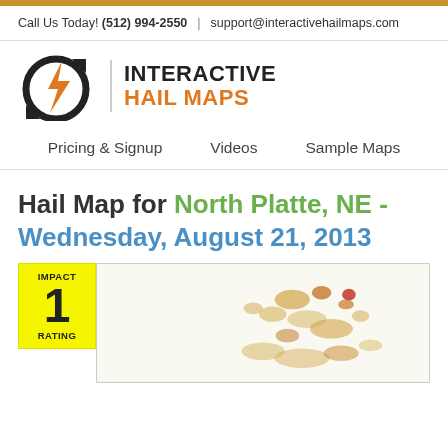Call Us Today! (512) 994-2550 | support@interactivehailmaps.com
[Figure (logo): Interactive Hail Maps logo with orange and black circular arrow/lightning bolt icon]
Pricing & Signup   Videos   Sample Maps
Hail Map for North Platte, NE - Wednesday, August 21, 2013
[Figure (map): Hail impact map preview showing hail patterns over North Platte, NE area with orange/brown hail markers, with a yellow Impact Rating 1 box overlay]